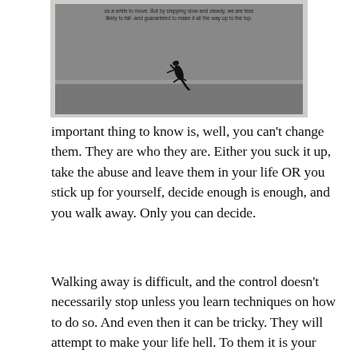[Figure (photo): Black and white photograph of a lizard climbing up a stone ledge or wall, with a motivational quote text overlay at the top reading about stepping slow and steady to make it to the top.]
important thing to know is, well, you can't change them. They are who they are. Either you suck it up, take the abuse and leave them in your life OR you stick up for yourself, decide enough is enough, and you walk away. Only you can decide.
Walking away is difficult, and the control doesn't necessarily stop unless you learn techniques on how to do so. And even then it can be tricky. They will attempt to make your life hell. To them it is your punishment for making them feel even worse about themselves.